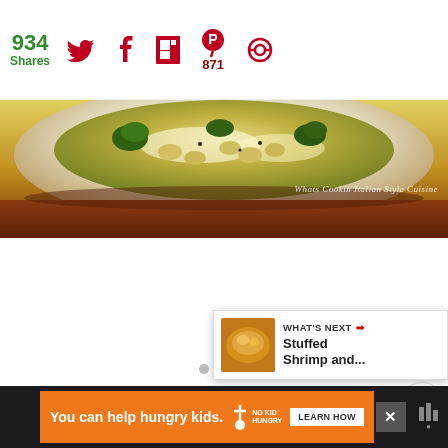934 Shares
[Figure (screenshot): Social sharing bar with Twitter, Facebook, Flipboard, Pinterest (871), and other social icons]
[Figure (photo): Food photo showing a plate of gnocchi or dumplings in cream sauce with broccoli. Watermark reads: Whats Cookin Italian Style Cuisine]
[Figure (infographic): Floating action buttons on right side: heart/like button (teal circle), count of 42, share button, and down arrow button. Slideshow navigation dots. What's Next card showing Stuffed Shrimp and... with food thumbnail.]
42
WHAT'S NEXT → Stuffed Shrimp and...
You can help hungry kids. NO KID HUNGRY LEARN HOW